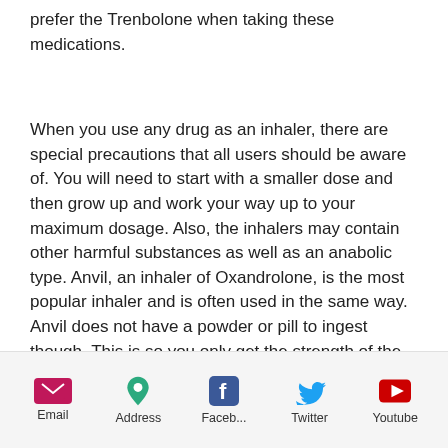prefer the Trenbolone when taking these medications.
When you use any drug as an inhaler, there are special precautions that all users should be aware of. You will need to start with a smaller dose and then grow up and work your way up to your maximum dosage. Also, the inhalers may contain other harmful substances as well as an anabolic type. Anvil, an inhaler of Oxandrolone, is the most popular inhaler and is often used in the same way. Anvil does not have a powder or pill to ingest though. This is so you only get the strength of the substance which you want to use.
Email  Address  Faceb...  Twitter  Youtube